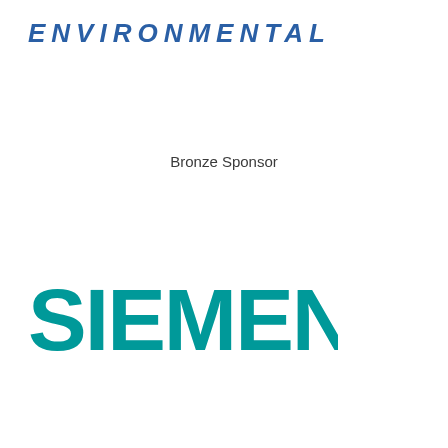ENVIRONMENTAL
Bronze Sponsor
[Figure (logo): Siemens logo in teal/green color, bold uppercase letters SIEMENS]